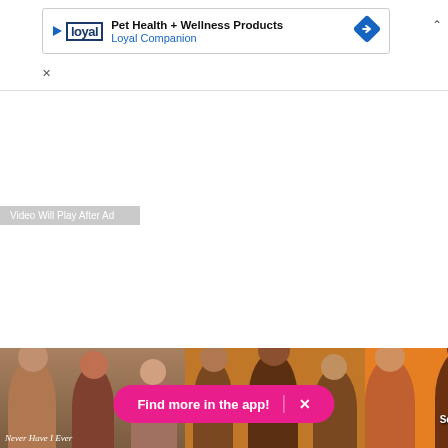[Figure (screenshot): Advertisement banner for Loyal Companion pet health and wellness products, with play button icon, company logo, navigation arrow icon, and chevron/close controls.]
Video Will Play After Ad
[Figure (screenshot): Bottom strip of video thumbnails showing: 'Never Have I Ever' show with people, a group of people on orange background, and 'Latino Soda Swap' on orange background. A pink 'Find more in the app!' pill button overlays the bottom.]